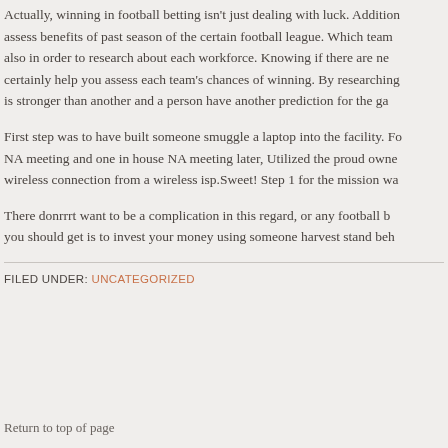Actually, winning in football betting isn't just dealing with luck. Additionally assess benefits of past season of the certain football league. Which team also in order to research about each workforce. Knowing if there are new certainly help you assess each team's chances of winning. By researching is stronger than another and a person have another prediction for the ga
First step was to have built someone smuggle a laptop into the facility. Fo NA meeting and one in house NA meeting later, Utilized the proud owne wireless connection from a wireless isp.Sweet! Step 1 for the mission wa
There donrrrt want to be a complication in this regard, or any football b you should get is to invest your money using someone harvest stand beh
FILED UNDER: UNCATEGORIZED
Return to top of page